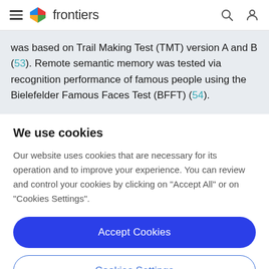frontiers
was based on Trail Making Test (TMT) version A and B (53). Remote semantic memory was tested via recognition performance of famous people using the Bielefelder Famous Faces Test (BFFT) (54).
We use cookies
Our website uses cookies that are necessary for its operation and to improve your experience. You can review and control your cookies by clicking on "Accept All" or on "Cookies Settings".
Accept Cookies
Cookies Settings